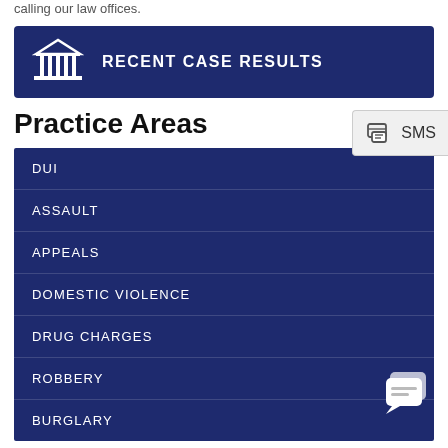calling our law offices.
RECENT CASE RESULTS
Practice Areas
DUI
ASSAULT
APPEALS
DOMESTIC VIOLENCE
DRUG CHARGES
ROBBERY
BURGLARY